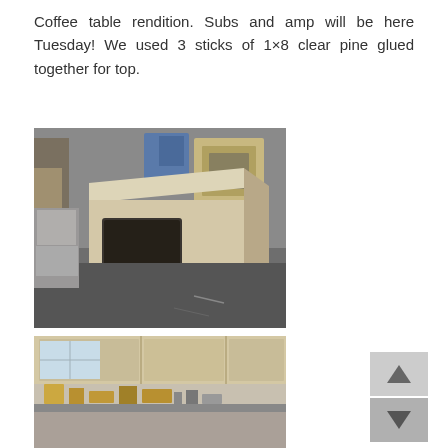Coffee table rendition. Subs and amp will be here Tuesday! We used 3 sticks of 1×8 clear pine glued together for top.
[Figure (photo): A wooden box-shaped subwoofer enclosure sitting on a workshop floor, with a rectangular port on the side and curved cutout at the bottom front. Workshop with materials visible in background.]
[Figure (photo): A workshop scene with wood panels, tools and materials on a workbench, partially visible at the bottom of the page.]